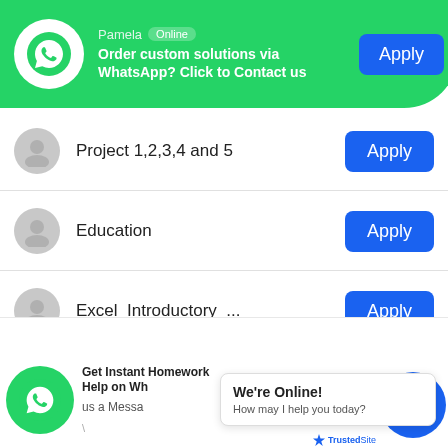[Figure (screenshot): WhatsApp chat banner with Pamela (Online), message 'Order custom solutions via WhatsApp? Click to Contact us', and an Apply button]
Project 1,2,3,4 and 5 — Apply
Education — Apply
Excel_Introductory_... — Apply
Discussion — Apply
Assignment — Apply
[Figure (screenshot): WhatsApp chat popup with 'Get Instant Homework Help on Wh... us a Messa...' and Online bubble saying 'We're Online! How may I help you today?' and blue chat icon. TrustedSite badge visible.]